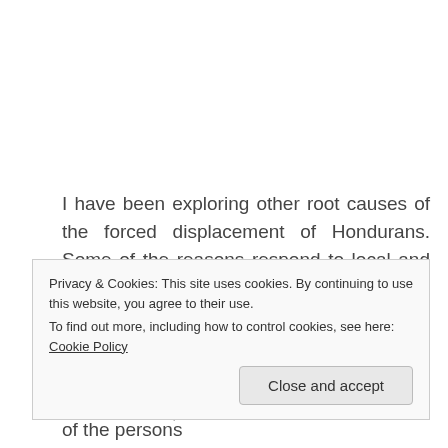I have been exploring other root causes of the forced displacement of Hondurans. Some of the reasons respond to local and regional processes (e.g. weak institutions, poverty, inequality), but forced displacement in Hondurans (and Central America) is connected to global proceses as well.
I am still exploring these issues, trying to understand it,
Privacy & Cookies: This site uses cookies. By continuing to use this website, you agree to their use.
To find out more, including how to control cookies, see here: Cookie Policy
needs to be on the map, so too the stories of the persons